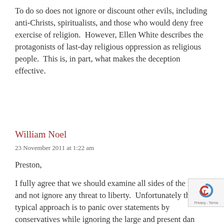To do so does not ignore or discount other evils, including anti-Christs, spiritualists, and those who would deny free exercise of religion.  However, Ellen White describes the protagonists of last-day religious oppression as religious people.  This is, in part, what makes the deception effective.
William Noel
23 November 2011 at 1:22 am
Preston,
I fully agree that we should examine all sides of the issue and not ignore any threat to liberty.  Unfortunately the typical approach is to panic over statements by conservatives while ignoring the large and present danger presented by the liberal socialism.  It's